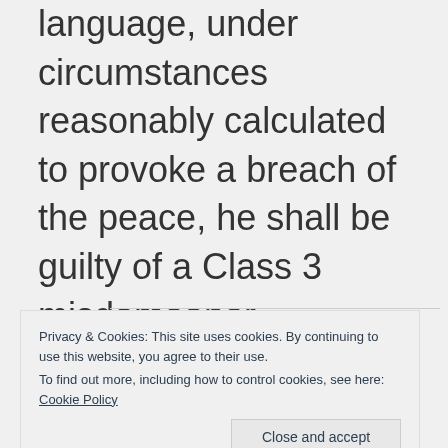language, under circumstances reasonably calculated to provoke a breach of the peace, he shall be guilty of a Class 3 misdemeanor.
Privacy & Cookies: This site uses cookies. By continuing to use this website, you agree to their use. To find out more, including how to control cookies, see here: Cookie Policy